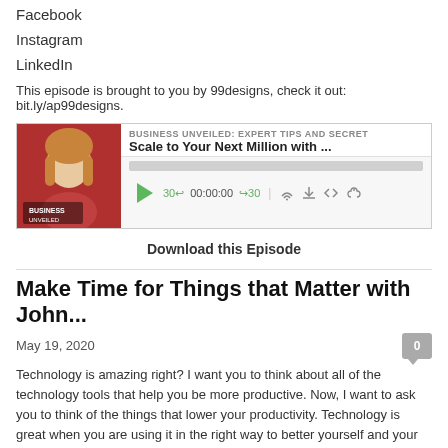Facebook
Instagram
LinkedIn
This episode is brought to you by 99designs, check it out: bit.ly/ap99designs.
[Figure (screenshot): Podcast player widget for 'Business Unveiled: Expert Tips and Secret' episode titled 'Scale to Your Next Million with ...' with play button, progress bar, and playback controls showing 00:00:00]
Download this Episode
Make Time for Things that Matter with John...
May 19, 2020
Technology is amazing right? I want you to think about all of the technology tools that help you be more productive. Now, I want to ask you to think of the things that lower your productivity. Technology is great when you are using it in the right way to better yourself and your business.
In this episode, I chat with John Zeratsky, Author and Creator of Make Time, all...